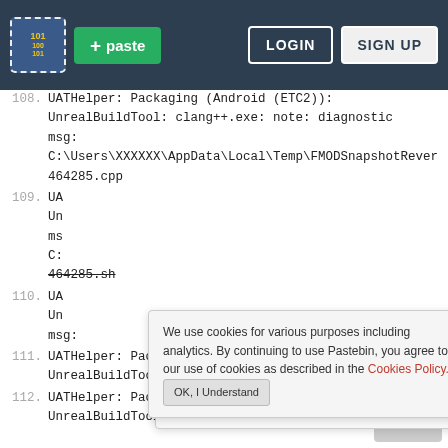[Figure (screenshot): Pastebin website header navbar with logo, + paste button, LOGIN and SIGN UP buttons on dark background]
108. UATHelper: Packaging (Android (ETC2)):
UnrealBuildTool: clang++.exe: note: diagnostic msg:
C:\Users\XXXXXX\AppData\Local\Temp\FMODSnapshotRever
464285.cpp
109. UA
Un
ms
C:
464285.sh
[Figure (infographic): Cookie consent banner: 'We use cookies for various purposes including analytics. By continuing to use Pastebin, you agree to our use of cookies as described in the Cookies Policy. OK, I Understand']
[Figure (infographic): Hello popup: 'Not a member of Pastebin yet? Sign Up, it unlocks many cool features!']
110. UA
Un
msg:
111. UATHelper: Packaging (Android (ETC2)):
UnrealBuildTool:
112. UATHelper: Packaging (Android (ETC2)):
UnrealBuildTool: ********************